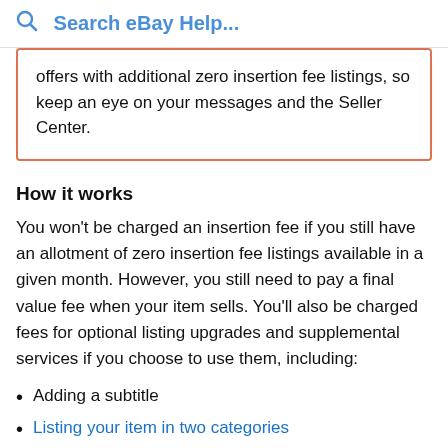Search eBay Help...
offers with additional zero insertion fee listings, so keep an eye on your messages and the Seller Center.
How it works
You won't be charged an insertion fee if you still have an allotment of zero insertion fee listings available in a given month. However, you still need to pay a final value fee when your item sells. You'll also be charged fees for optional listing upgrades and supplemental services if you choose to use them, including:
Adding a subtitle
Listing your item in two categories